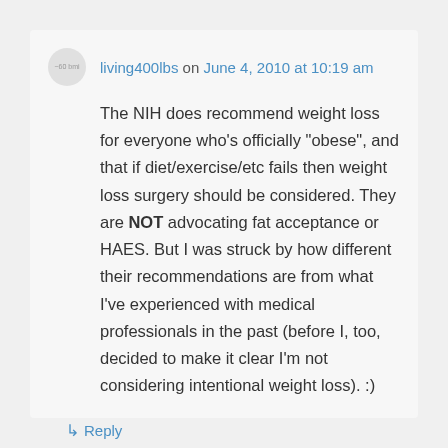living400lbs on June 4, 2010 at 10:19 am
The NIH does recommend weight loss for everyone who’s officially “obese”, and that if diet/exercise/etc fails then weight loss surgery should be considered. They are NOT advocating fat acceptance or HAES. But I was struck by how different their recommendations are from what I’ve experienced with medical professionals in the past (before I, too, decided to make it clear I’m not considering intentional weight loss). :)
↳ Reply